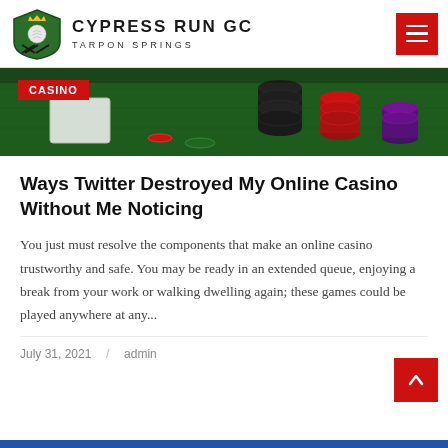CYPRESS RUN GC  TARPON SPRINGS
[Figure (photo): Casino poker chips on a green felt table with a red CASINO badge overlay]
Ways Twitter Destroyed My Online Casino Without Me Noticing
You just must resolve the components that make an online casino trustworthy and safe. You may be ready in an extended queue, enjoying a break from your work or walking dwelling again; these games could be played anywhere at any...
July 31, 2021  /  admin